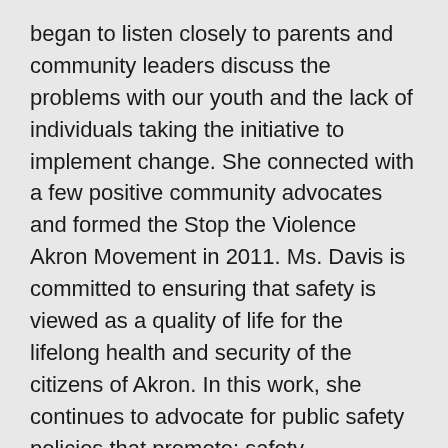began to listen closely to parents and community leaders discuss the problems with our youth and the lack of individuals taking the initiative to implement change. She connected with a few positive community advocates and formed the Stop the Violence Akron Movement in 2011. Ms. Davis is committed to ensuring that safety is viewed as a quality of life for the lifelong health and security of the citizens of Akron. In this work, she continues to advocate for public safety policies that promote: safety, accountability, crime prevention, healing, rehabilitation, and justice.
Ms. Davis has always participated in Akron Urban League programs as a child and teenager. She